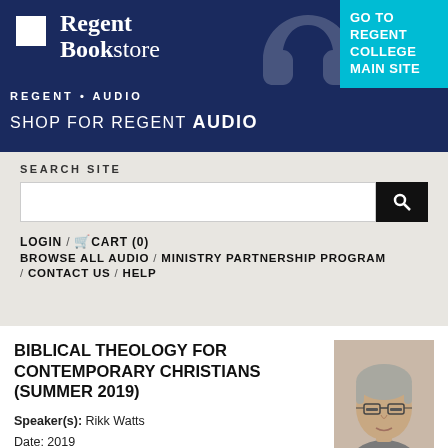[Figure (screenshot): Regent Bookstore / Regent Audio header banner with dark navy background, logo with cross icon, text 'Regent Bookstore', 'REGENT • AUDIO', 'SHOP FOR REGENT AUDIO', and a cyan 'GO TO REGENT COLLEGE MAIN SITE' button top right]
SEARCH SITE
[Figure (screenshot): Search input bar with white field and black search button with magnifying glass icon]
LOGIN / CART (0)
BROWSE ALL AUDIO / MINISTRY PARTNERSHIP PROGRAM / CONTACT US / HELP
BIBLICAL THEOLOGY FOR CONTEMPORARY CHRISTIANS (SUMMER 2019)
Speaker(s): Rikk Watts
Date: 2019
[Figure (photo): Headshot photo of Rikk Watts, middle-aged man with grey hair and glasses]